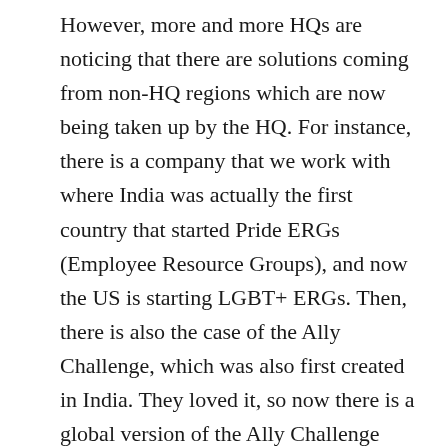However, more and more HQs are noticing that there are solutions coming from non-HQ regions which are now being taken up by the HQ. For instance, there is a company that we work with where India was actually the first country that started Pride ERGs (Employee Resource Groups), and now the US is starting LGBT+ ERGs. Then, there is also the case of the Ally Challenge, which was also first created in India. They loved it, so now there is a global version of the Ally Challenge being taken to the world. I think it's important that the HQ is not arrogant and be like, OK, we know everything because we are the HQ. It should be all about shared